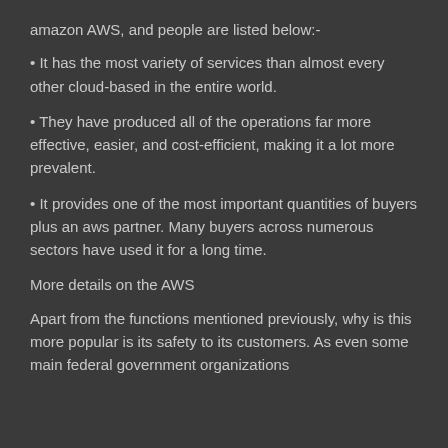amazon AWS, and people are listed below:-
• It has the most variety of services than almost every other cloud-based in the entire world.
• They have produced all of the operations far more effective, easier, and cost-efficient, making it a lot more prevalent.
• It provides one of the most important quantities of buyers plus an aws partner. Many buyers across numerous sectors have used it for a long time.
More details on the AWS
Apart from the functions mentioned previously, why is this more popular is its safety to its customers. As even some main federal government organizations